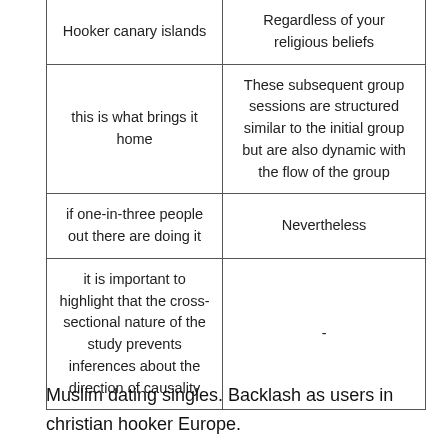| Hooker canary islands | Regardless of your religious beliefs |
| this is what brings it home | These subsequent group sessions are structured similar to the initial group but are also dynamic with the flow of the group |
| if one-in-three people out there are doing it | Nevertheless |
| it is important to highlight that the cross-sectional nature of the study prevents inferences about the direction of causality | - |
Muslim dating singles. Backlash as users in christian hooker Europe.